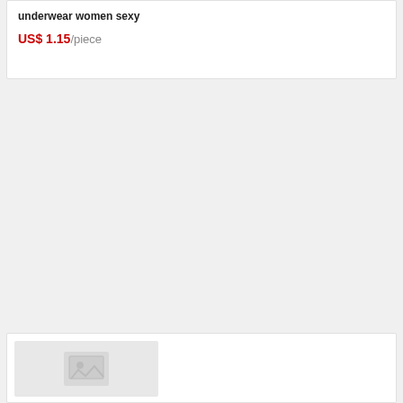underwear women sexy
US$ 1.15/piece
[Figure (other): Product image placeholder with image icon on grey background]